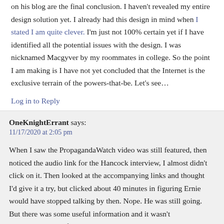on his blog are the final conclusion. I haven't revealed my entire design solution yet. I already had this design in mind when I stated I am quite clever. I'm just not 100% certain yet if I have identified all the potential issues with the design. I was nicknamed Macgyver by my roommates in college. So the point I am making is I have not yet concluded that the Internet is the exclusive terrain of the powers-that-be. Let's see…
Log in to Reply
OneKnightErrant says:
11/17/2020 at 2:05 pm
When I saw the PropagandaWatch video was still featured, then noticed the audio link for the Hancock interview, I almost didn't click on it. Then looked at the accompanying links and thought I'd give it a try, but clicked about 40 minutes in figuring Ernie would have stopped talking by then. Nope. He was still going. But there was some useful information and it wasn't exceptionally painful.